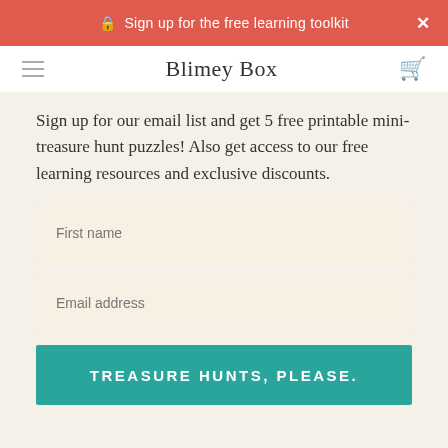🔒  Sign up for the free learning toolkit   ×
Blimey Box
Sign up for our email list and get 5 free printable mini-treasure hunt puzzles! Also get access to our free learning resources and exclusive discounts.
First name
Email address
TREASURE HUNTS, PLEASE.